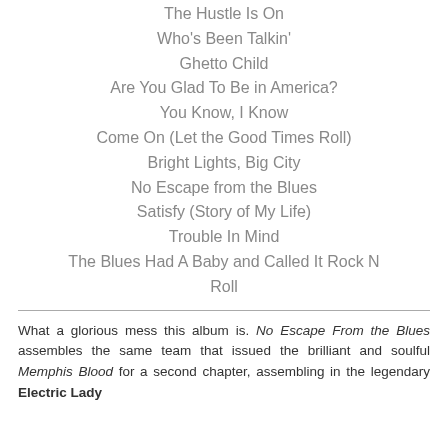The Hustle Is On
Who's Been Talkin'
Ghetto Child
Are You Glad To Be in America?
You Know, I Know
Come On (Let the Good Times Roll)
Bright Lights, Big City
No Escape from the Blues
Satisfy (Story of My Life)
Trouble In Mind
The Blues Had A Baby and Called It Rock N Roll
What a glorious mess this album is. No Escape From the Blues assembles the same team that issued the brilliant and soulful Memphis Blood for a second chapter, assembling in the legendary Electric Lady